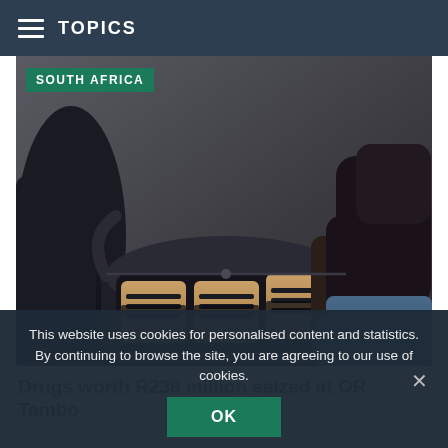TOPICS
SOUTH AFRICA
[Figure (photo): Person in black jacket opening a dark duffel bag containing brown brick-shaped packages wrapped with black tape — drug seizure scene]
Drugs worth R236 million seized at OR Tambo
This website uses cookies for personalised content and statistics. By continuing to browse the site, you are agreeing to our use of cookies.
OK